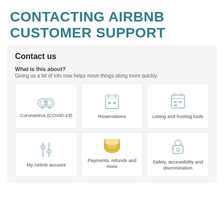CONTACTING AIRBNB CUSTOMER SUPPORT
Contact us
What is this about?
Giving us a bit of info now helps move things along more quickly.
[Figure (infographic): Grid of 6 category cards: Coronavirus (COVID-19), Reservations, Listing and hosting tools, My Airbnb account, Payments refunds and more, Safety accessibility and discrimination]